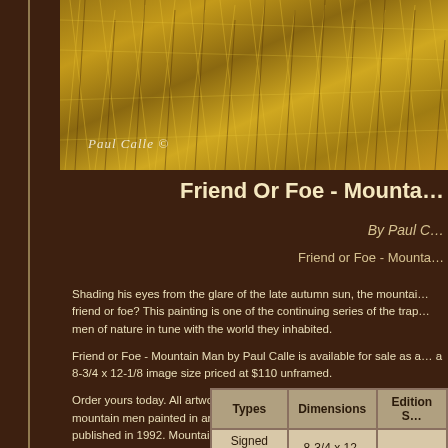[Figure (photo): Photograph of dry autumn grass/straw with a handwritten signature 'Paul Calle ©' overlaid in white italic text]
Friend Or Foe - Mountain Man
By Paul Calle
Friend or Foe - Mountain Man
Shading his eyes from the glare of the late autumn sun, the mountain man scans the horizon — friend or foe? This painting is one of the continuing series of the trapper and explorer — men of nature in tune with the world they inhabited.
Friend or Foe - Mountain Man by Paul Calle is available for sale as a limited edition print with a 8-3/4 x 12-1/8 image size priced at $110 unframed.
Order yours today. All artwork is professionally boxed and insured and we have many mountain men painted in artwork on sale. All artwork has been hand signed by the artist and published in 1992. Mountain man artist Paul Calle art prints on sale f…
| Types | Dimensions | Edition S… |
| --- | --- | --- |
| Signed And Numbered | 8-3/4 x 12-1/8 | 950 |